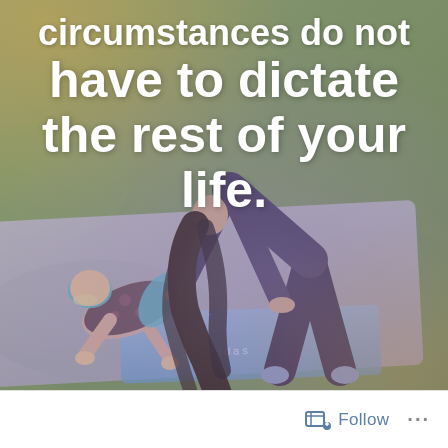[Figure (photo): A photo of two people (an adult woman with long dark hair and a young child) doing yoga poses (downward dog) on yoga mats outdoors on grass. The image has a warm golden-purple color overlay. Text overlay with a motivational quote is displayed at the top.]
circumstances do not have to dictate the rest of your life.
Follow ...